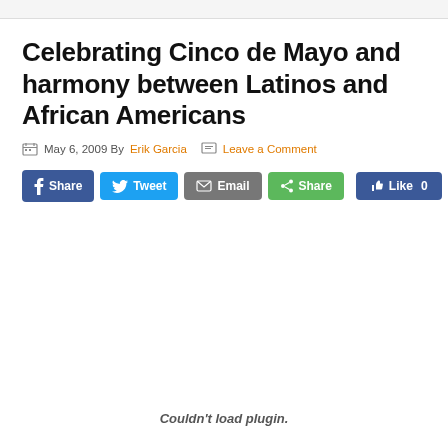Celebrating Cinco de Mayo and harmony between Latinos and African Americans
May 6, 2009 By Erik Garcia   Leave a Comment
[Figure (screenshot): Social share buttons: Facebook Share, Twitter Tweet, Email, ShareThis Share, Facebook Like (0)]
Couldn't load plugin.